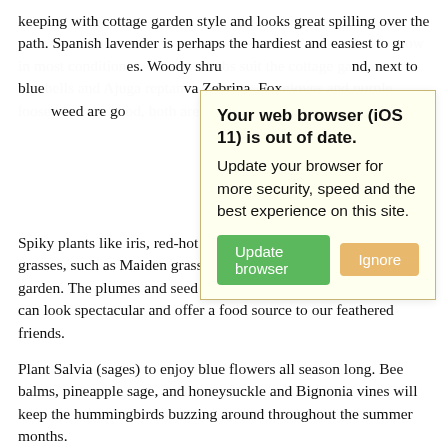keeping with cottage garden style and looks great spilling over the path. Spanish lavender is perhaps the hardiest and easiest to gr…es. Woody shru…nd, next to blue…va Zebrina. Fox…weed are go…ve to butterflies.
[Figure (screenshot): Browser update modal dialog with yellow-tinted background and orange border. Title: 'Your web browser (iOS 11) is out of date.' Body: 'Update your browser for more security, speed and the best experience on this site.' Two buttons: green 'Update browser' and orange 'Ignore'.]
Spiky plants like iris, red-hot poker and mid-sized ornamental grasses, such as Maiden grass, add interest and structure to the garden. The plumes and seed heads of grasses, herbs and flowers can look spectacular and offer a food source to our feathered friends.
Plant Salvia (sages) to enjoy blue flowers all season long. Bee balms, pineapple sage, and honeysuckle and Bignonia vines will keep the hummingbirds buzzing around throughout the summer months.